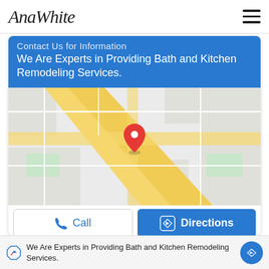AnaWhite
[Figure (screenshot): Google Maps screenshot showing street map with a red location pin marker in the center, surrounded by yellow roads and grey streets]
Contact Us for Information
We Are Experts in Providing Bath and Kitchen Remodeling Services.
[Figure (other): Call and Directions buttons below the map]
STEP 3
[Figure (illustration): Pencil sketch of a wooden furniture piece (shelf or table) partially visible at the bottom]
We Are Experts in Providing Bath and Kitchen Remodeling Services.